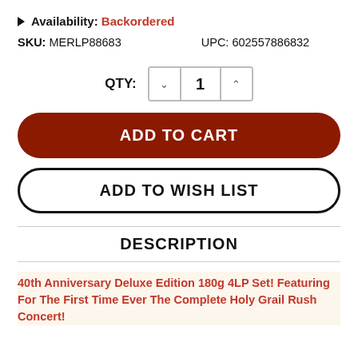▶ Availability: Backordered
SKU: MERLP88683    UPC: 602557886832
QTY: 1
ADD TO CART
ADD TO WISH LIST
DESCRIPTION
40th Anniversary Deluxe Edition 180g 4LP Set! Featuring For The First Time Ever The Complete Holy Grail Rush Concert!